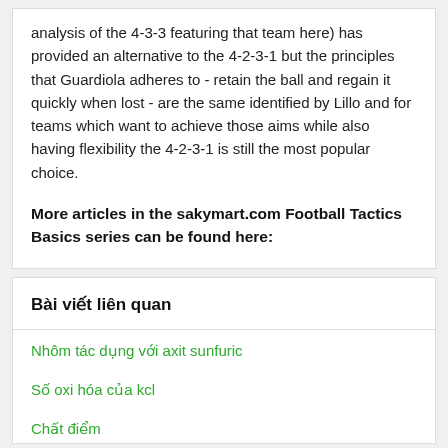analysis of the 4-3-3 featuring that team here) has provided an alternative to the 4-2-3-1 but the principles that Guardiola adheres to - retain the ball and regain it quickly when lost - are the same identified by Lillo and for teams which want to achieve those aims while also having flexibility the 4-2-3-1 is still the most popular choice.
More articles in the sakymart.com Football Tactics Basics series can be found here:
Bài viết liên quan
Nhôm tác dụng với axit sunfuric
Số oxi hóa của kcl
Chất điểm